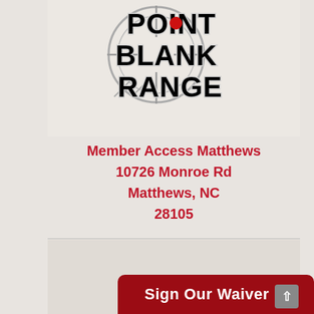[Figure (logo): Point Blank Range logo — a gun crosshair/target with stylized bold text reading POINT BLANK RANGE in black with silver metallic accents and a red dot on the letter O]
Member Access Matthews
10726 Monroe Rd
Matthews, NC
28105
[Figure (other): Sign Our Waiver button with red background and a partial thumbnail image showing an American flag circle]